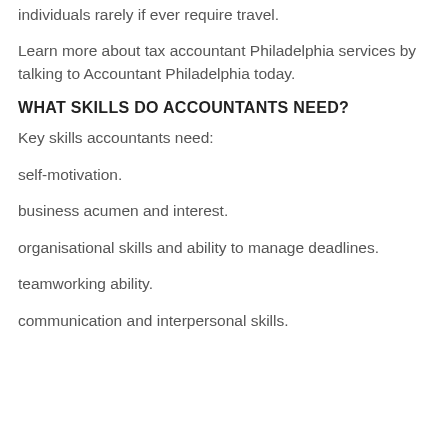individuals rarely if ever require travel.
Learn more about tax accountant Philadelphia services by talking to Accountant Philadelphia today.
WHAT SKILLS DO ACCOUNTANTS NEED?
Key skills accountants need:
self-motivation.
business acumen and interest.
organisational skills and ability to manage deadlines.
teamworking ability.
communication and interpersonal skills.